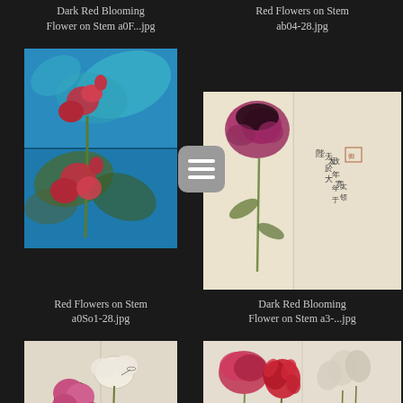Dark Red Blooming Flower on Stem a0F...jpg
Red Flowers on Stem ab04-28.jpg
[Figure (photo): Two-panel image of red flowers on blue botanical background]
[Figure (illustration): Menu/hamburger icon button]
[Figure (photo): Japanese botanical illustration of dark red carnation-like flower with calligraphy text]
Red Flowers on Stem a0So1-28.jpg
Dark Red Blooming Flower on Stem a3-...jpg
[Figure (photo): Botanical illustration of pink hollyhock-like flowers on white background]
[Figure (photo): Botanical illustration of red flowers including carnations and lilies on white background]